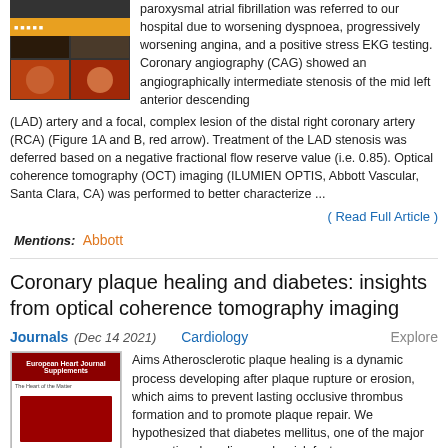[Figure (photo): OCT imaging screenshot showing four quadrant views of coronary artery cross-sections with orange/brown tones and a yellow bar at top]
paroxysmal atrial fibrillation was referred to our hospital due to worsening dyspnoea, progressively worsening angina, and a positive stress EKG testing. Coronary angiography (CAG) showed an angiographically intermediate stenosis of the mid left anterior descending (LAD) artery and a focal, complex lesion of the distal right coronary artery (RCA) (Figure 1A and B, red arrow). Treatment of the LAD stenosis was deferred based on a negative fractional flow reserve value (i.e. 0.85). Optical coherence tomography (OCT) imaging (ILUMIEN OPTIS, Abbott Vascular, Santa Clara, CA) was performed to better characterize ...
( Read Full Article )
Mentions: Abbott
Coronary plaque healing and diabetes: insights from optical coherence tomography imaging
Journals (Dec 14 2021)   Cardiology   Explore
[Figure (photo): Journal cover for European Heart Journal Supplements showing red cover design]
Aims Atherosclerotic plaque healing is a dynamic process developing after plaque rupture or erosion, which aims to prevent lasting occlusive thrombus formation and to promote plaque repair. We hypothesized that diabetes mellitus, one of the major conventional cardiovascular risk factors, may